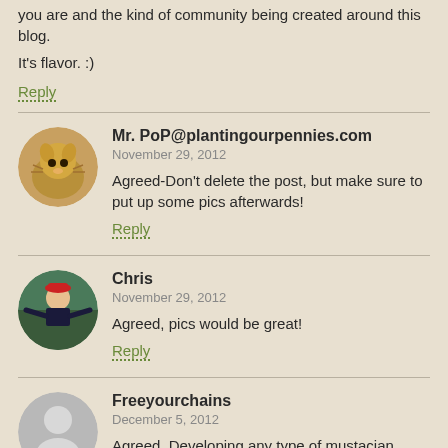you are and the kind of community being created around this blog.

It's flavor. :)
Reply
Mr. PoP@plantingourpennies.com
November 29, 2012
Agreed-Don't delete the post, but make sure to put up some pics afterwards!
Reply
Chris
November 29, 2012
Agreed, pics would be great!
Reply
Freeyourchains
December 5, 2012
Agreed, Developing any type of mustacian